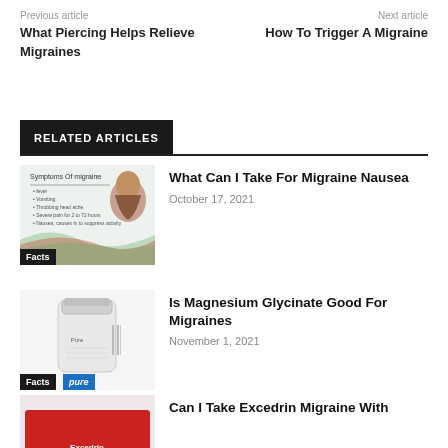Previous article
What Piercing Helps Relieve Migraines
Next article
How To Trigger A Migraine
RELATED ARTICLES
[Figure (photo): Symptoms of migraine infographic with woman holding head]
What Can I Take For Migraine Nausea
October 17, 2021
[Figure (photo): White bottle of Pure Encapsulations supplement]
Is Magnesium Glycinate Good For Migraines
November 1, 2021
[Figure (photo): Excedrin Migraine product packaging]
Can I Take Excedrin Migraine With